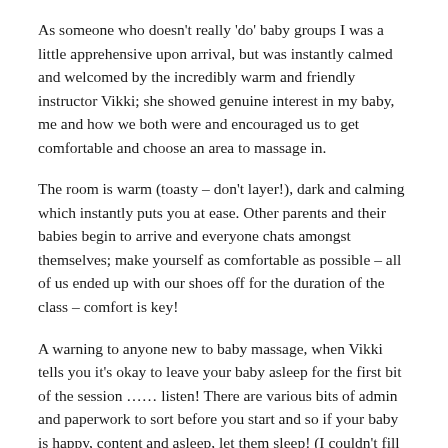As someone who doesn't really 'do' baby groups I was a little apprehensive upon arrival, but was instantly calmed and welcomed by the incredibly warm and friendly instructor Vikki; she showed genuine interest in my baby, me and how we both were and encouraged us to get comfortable and choose an area to massage in.
The room is warm (toasty – don't layer!), dark and calming which instantly puts you at ease. Other parents and their babies begin to arrive and everyone chats amongst themselves; make yourself as comfortable as possible – all of us ended up with our shoes off for the duration of the class – comfort is key!
A warning to anyone new to baby massage, when Vikki tells you it's okay to leave your baby asleep for the first bit of the session …… listen! There are various bits of admin and paperwork to sort before you start and so if your baby is happy, content and asleep, let them sleep! (I couldn't fill my form in until the end of the session because I did not heed this advice!)